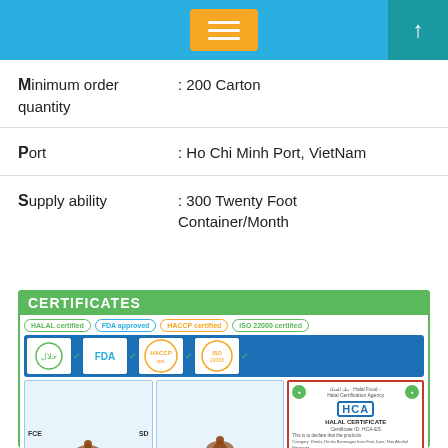Minimum order quantity : 200 Carton
Port : Ho Chi Minh Port, VietNam
Supply ability : 300 Twenty Foot Container/Month
CERTIFICATES
[Figure (photo): Certificates section showing HALAL certified, FDA approved, HACCP certified, ISO 22000 certified badges and logos, two FDA/CE document certificates, and a Halal Certification Agency (HCA) HALAL CERTIFICATE issued to Rita Food and Drink Company Limited.]